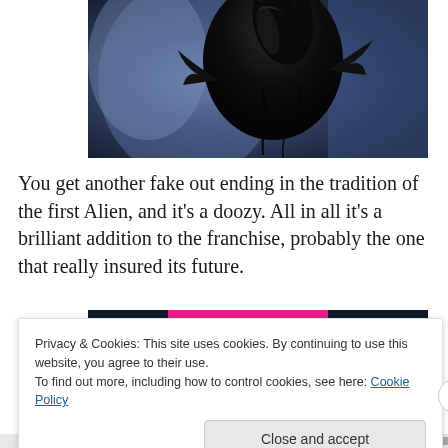[Figure (photo): A dark, glossy alien creature (Xenomorph) against a blue-tinted background, close-up shot showing claws and upper body.]
You get another fake out ending in the tradition of the first Alien, and it's a doozy. All in all it's a brilliant addition to the franchise, probably the one that really insured its future.
[Figure (screenshot): A dark teal banner with dots pattern and a circular logo reading CROWD on the right side, with a pink bar at top.]
Privacy & Cookies: This site uses cookies. By continuing to use this website, you agree to their use.
To find out more, including how to control cookies, see here: Cookie Policy
Close and accept